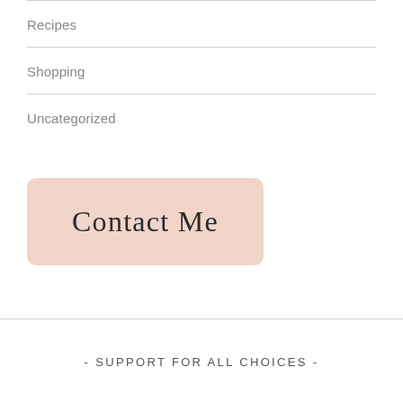Recipes
Shopping
Uncategorized
[Figure (other): Pink/peach rounded rectangle button labeled 'Contact Me']
- SUPPORT FOR ALL CHOICES -